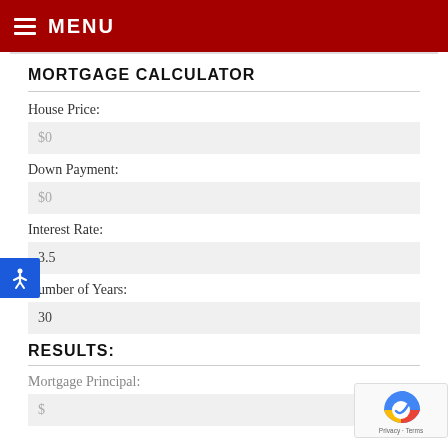MENU
MORTGAGE CALCULATOR
House Price:
$0
Down Payment:
$0
Interest Rate:
3.5
Number of Years:
30
RESULTS:
Mortgage Principal:
$